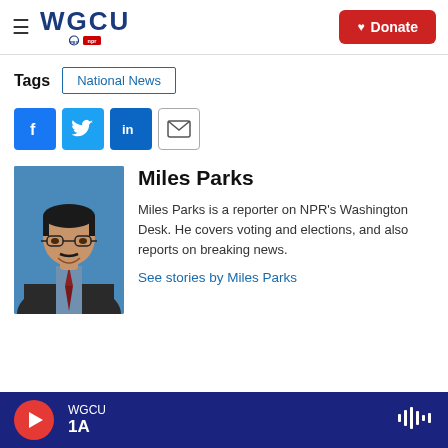[Figure (logo): WGCU Public Media logo with PBS and NPR badges]
Donate
Tags
National News
[Figure (infographic): Social sharing icons: Facebook, Twitter, LinkedIn, Email]
[Figure (photo): Headshot photo of Miles Parks, a man with glasses and a mustache wearing a suit and tie against a blue background]
Miles Parks
Miles Parks is a reporter on NPR's Washington Desk. He covers voting and elections, and also reports on breaking news.
See stories by Miles Parks
WGCU 1A